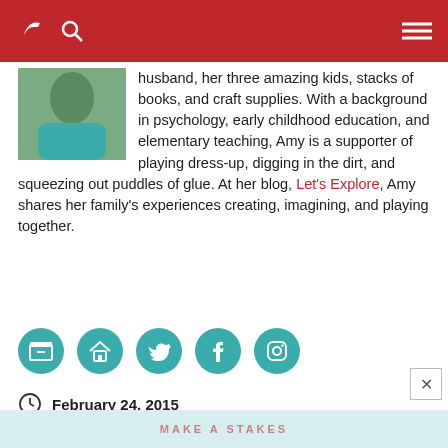Blog header navigation bar with logo, search, and menu
husband, her three amazing kids, stacks of books, and craft supplies. With a background in psychology, early childhood education, and elementary teaching, Amy is a supporter of playing dress-up, digging in the dirt, and squeezing out puddles of glue. At her blog, Let's Explore, Amy shares her family's experiences creating, imagining, and playing together.
[Figure (other): Social media icons: archive/email, home, Twitter, Facebook, Instagram — five teal circular icons]
February 24, 2015
Educational Fun
5 senses, finger paint, painting, sensory